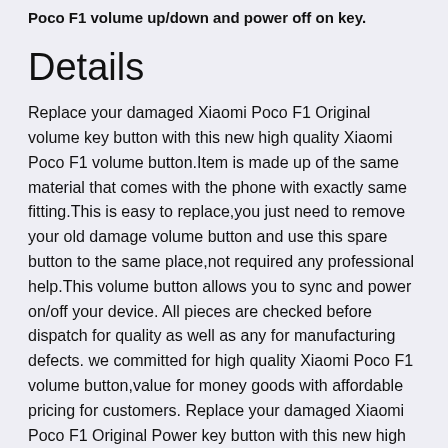Poco F1 volume up/down and power off on key.
Details
Replace your damaged Xiaomi Poco F1 Original volume key button with this new high quality Xiaomi Poco F1 volume button.Item is made up of the same material that comes with the phone with exactly same fitting.This is easy to replace,you just need to remove your old damage volume button and use this spare button to the same place,not required any professional help.This volume button allows you to sync and power on/off your device. All pieces are checked before dispatch for quality as well as any for manufacturing defects. we committed for high quality Xiaomi Poco F1 volume button,value for money goods with affordable pricing for customers. Replace your damaged Xiaomi Poco F1 Original Power key button with this new high quality Xiaomi Poco F1 power button.Item is made up of the same material that comes with the phone